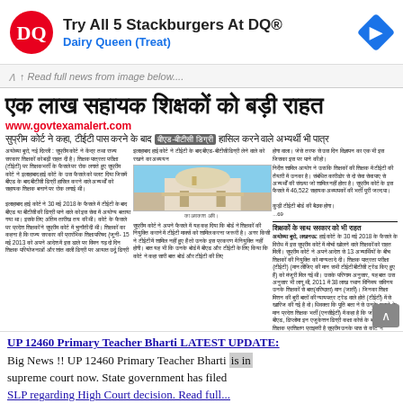[Figure (screenshot): Dairy Queen advertisement banner with DQ logo, text 'Try All 5 Stackburgers At DQ®' and 'Dairy Queen (Treat)', with a blue navigation arrow icon]
↑ Read full news from image below....
एक लाख सहायक शिक्षकों को बड़ी राहत
www.govtexamalert.com
सुप्रीम कोर्ट ने कहा, टीईटी पास करने के बाद बीएड-बीटीसी डिग्री हासिल करने वाले अभ्यर्थी भी पात्र
[Figure (photo): Photo of a domed government building (Supreme Court of India) with blue sky background]
Hindi newspaper article text in three columns about Supreme Court ruling on assistant teachers eligibility
शिक्षकों के साथ सरकार को भी राहत
Hindi news body text about government relief regarding teacher recruitment
UP 12460 Primary Teacher Bharti LATEST UPDATE: Big News !! UP 12460 Primary Teacher Bharti is in supreme court now. State government has filed SLP regarding High Court decision. Read full...